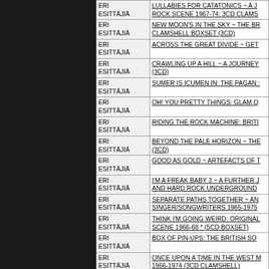| Artist | Title |
| --- | --- |
| ERI ESITTÄJIÄ | LULLABIES FOR CATATONICS ~ A J ROCK SCENE 1967-74: 3CD CLAMS |
| ERI ESITTÄJIÄ | NEW MOON'S IN THE SKY ~ THE BR CLAMSHELL BOXSET (3CD) |
| ERI ESITTÄJIÄ | ACROSS THE GREAT DIVIDE ~ GET |
| ERI ESITTÄJIÄ | CRAWLING UP A HILL ~ A JOURNEY (3CD) |
| ERI ESITTÄJIÄ | SUMER IS ICUMEN IN: THE PAGAN : |
| ERI ESITTÄJIÄ | OH! YOU PRETTY THINGS: GLAM Q |
| ERI ESITTÄJIÄ | RIDING THE ROCK MACHINE: BRITI |
| ERI ESITTÄJIÄ | BEYOND THE PALE HORIZON ~ THE (3CD) |
| ERI ESITTÄJIÄ | GOOD AS GOLD ~ ARTEFACTS OF T |
| ERI ESITTÄJIÄ | I'M A FREAK BABY 3 ~ A FURTHER J AND HARD ROCK UNDERGROUND |
| ERI ESITTÄJIÄ | SEPARATE PATHS TOGETHER ~ AN SINGER/SONGWRITERS 1965-1975 |
| ERI ESITTÄJIÄ | THINK I'M GOING WEIRD: ORIGINAL SCENE 1966-68 * (5CD BOXSET) |
| ERI ESITTÄJIÄ | BOX OF PIN-UPS: THE BRITISH SO |
| ERI ESITTÄJIÄ | ONCE UPON A TIME IN THE WEST M 1966-1974 (3CD CLAMSHELL) |
| ERI ESITTÄJIÄ | HEROES AND VILLAINS - THE SOUN BOX) (3CD) |
| ERI ESITTÄJIÄ | MILES OUT TO SEA: THE ROOTS OF BOX) (3CD) |
| ERI ESITTÄJIÄ | BEFORE THE DAY IS DONE - THE S (3CD) |
| ERI ESITTÄJIÄ | HIGH IN THE MORNING - BRITISH P CLAMSHELL BOX) (3CD) |